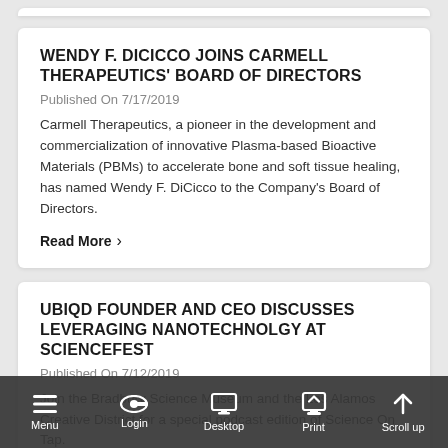WENDY F. DICICCO JOINS CARMELL THERAPEUTICS' BOARD OF DIRECTORS
Published On 7/17/2019
Carmell Therapeutics, a pioneer in the development and commercialization of innovative Plasma-based Bioactive Materials (PBMs) to accelerate bone and soft tissue healing, has named Wendy F. DiCicco to the Company's Board of Directors.
Read More >
UBIQD FOUNDER AND CEO DISCUSSES LEVERAGING NANOTECHNOLGY AT SCIENCEFEST
Published On 7/12/2019
Join the Bradbury Science Museum and the Los Alamos Creative District for a special podcast edition of Science On Tap.
Read More >